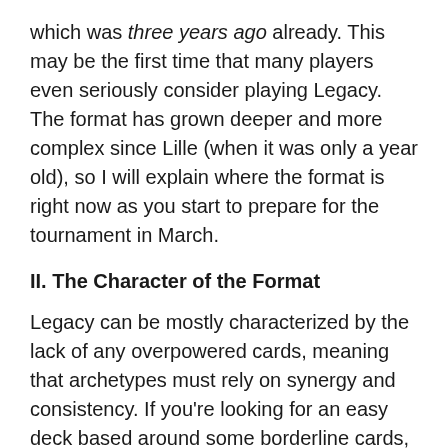which was three years ago already. This may be the first time that many players even seriously consider playing Legacy. The format has grown deeper and more complex since Lille (when it was only a year old), so I will explain where the format is right now as you start to prepare for the tournament in March.
II. The Character of the Format
Legacy can be mostly characterized by the lack of any overpowered cards, meaning that archetypes must rely on synergy and consistency. If you're looking for an easy deck based around some borderline cards, you won't find it in Legacy. Flash was a mistake that completely violated the DCI's banning criterion, and it is not what this format is like at all.
Legacy rewards intelligent play from the first turn of the game. Strategic thinking is one of the most important skills in this format, and therefore it is vital that you are